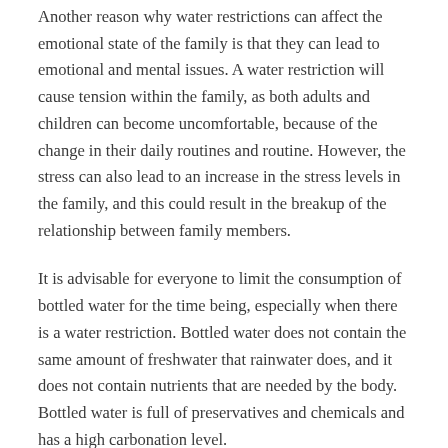Another reason why water restrictions can affect the emotional state of the family is that they can lead to emotional and mental issues. A water restriction will cause tension within the family, as both adults and children can become uncomfortable, because of the change in their daily routines and routine. However, the stress can also lead to an increase in the stress levels in the family, and this could result in the breakup of the relationship between family members.
It is advisable for everyone to limit the consumption of bottled water for the time being, especially when there is a water restriction. Bottled water does not contain the same amount of freshwater that rainwater does, and it does not contain nutrients that are needed by the body. Bottled water is full of preservatives and chemicals and has a high carbonation level.